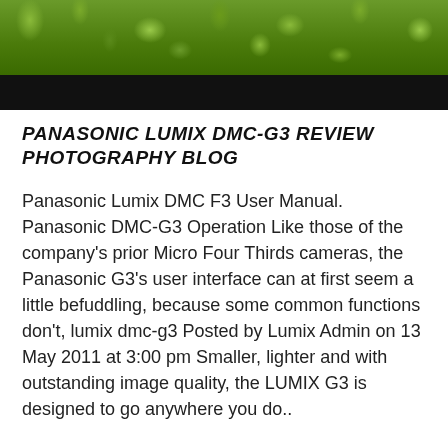[Figure (photo): Outdoor photograph showing green grass/foliage at top with a black banner/bar below it]
PANASONIC LUMIX DMC-G3 REVIEW PHOTOGRAPHY BLOG
Panasonic Lumix DMC F3 User Manual. Panasonic DMC-G3 Operation Like those of the company's prior Micro Four Thirds cameras, the Panasonic G3's user interface can at first seem a little befuddling, because some common functions don't, lumix dmc-g3 Posted by Lumix Admin on 13 May 2011 at 3:00 pm Smaller, lighter and with outstanding image quality, the LUMIX G3 is designed to go anywhere you do..